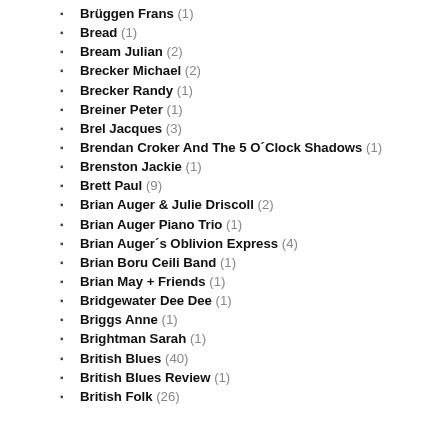Brüggen Frans (1)
Bread (1)
Bream Julian (2)
Brecker Michael (2)
Brecker Randy (1)
Breiner Peter (1)
Brel Jacques (3)
Brendan Croker And The 5 O´Clock Shadows (1)
Brenston Jackie (1)
Brett Paul (9)
Brian Auger & Julie Driscoll (2)
Brian Auger Piano Trio (1)
Brian Auger´s Oblivion Express (4)
Brian Boru Ceili Band (1)
Brian May + Friends (1)
Bridgewater Dee Dee (1)
Briggs Anne (1)
Brightman Sarah (1)
British Blues (40)
British Blues Review (1)
British Folk (26)